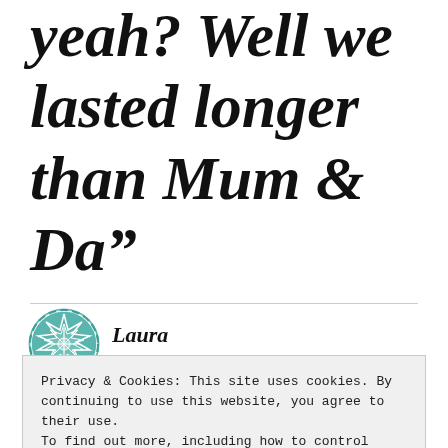yeah? Well we lasted longer than Mum & Da”
[Figure (illustration): Teal/green geometric star pattern icon representing the author avatar for Laura]
Laura
Privacy & Cookies: This site uses cookies. By continuing to use this website, you agree to their use.
To find out more, including how to control cookies, see here: Cookie Policy
Close and accept